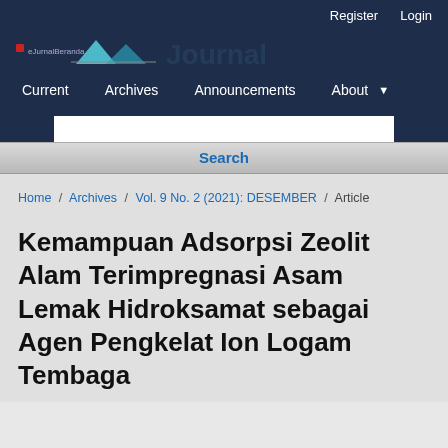Register   Login
[Figure (logo): Journal website logo with mountain/tent icon and partial text on dark navy background]
Current   Archives   Announcements   About
Search
Home / Archives / Vol. 9 No. 2 (2021): DESEMBER / Article
Kemampuan Adsorpsi Zeolit Alam Terimpregnasi Asam Lemak Hidroksamat sebagai Agen Pengkelat Ion Logam Tembaga